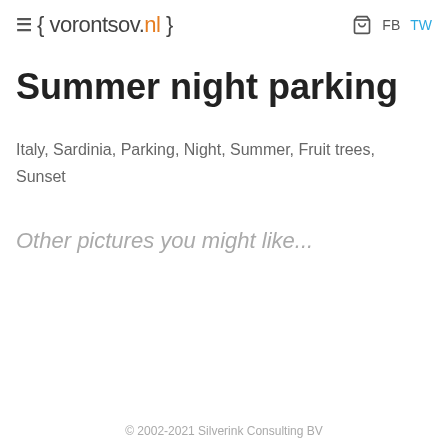≡ { vorontsov.nl } 🛒 FB TW
Summer night parking
Italy, Sardinia, Parking, Night, Summer, Fruit trees, Sunset
Other pictures you might like...
© 2002-2021 Silverink Consulting BV